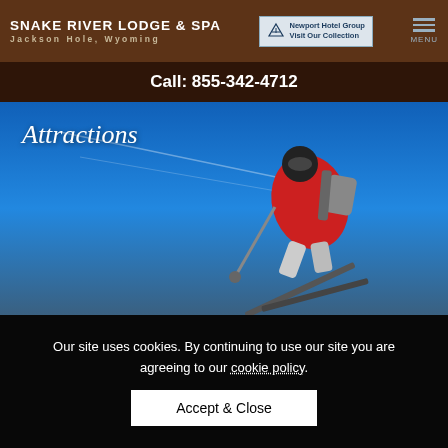SNAKE RIVER LODGE & SPA | JACKSON HOLE, WYOMING | Newport Hotel Group Visit Our Collection | MENU
Call: 855-342-4712
[Figure (photo): A skier in a red jacket with a backpack performing a jump or trick against a bright blue sky background, with ski tips visible below. Text overlay reads 'Attractions' in italic serif font.]
Our site uses cookies. By continuing to use our site you are agreeing to our cookie policy.
Accept & Close